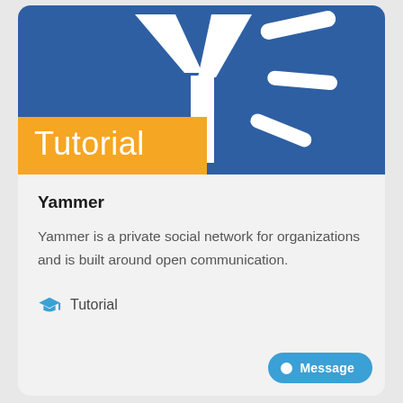[Figure (logo): Yammer logo on blue background — white letter Y with decorative lines — and an orange banner overlay with the word Tutorial in white.]
Yammer
Yammer is a private social network for organizations and is built around open communication.
Tutorial
Message